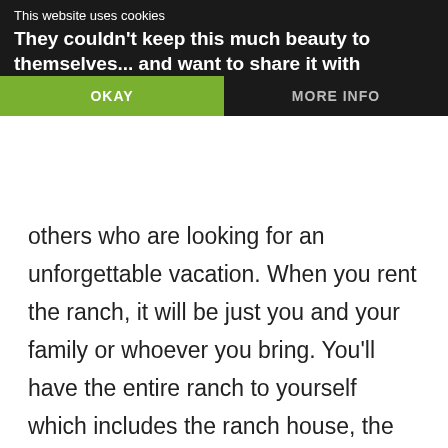This website uses cookies
They couldn't keep this much beauty to themselves and want to share it with others who are looking for an unforgettable vacation. When you rent the ranch, it will be just you and your family or whoever you bring. You'll have the entire ranch to yourself which includes the ranch house, the lodge, a mini-cabin, and more. You choose to be fully hosted, semi-hosted, or a private stay. To me, it's a once-in-a-lifetime place to spend unforgettable memories with the ones you love.